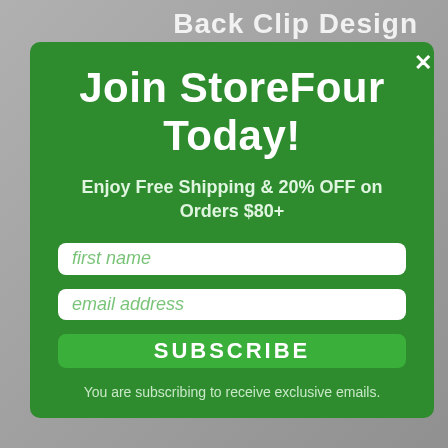[Figure (screenshot): Background showing a product image with text 'Back Clip Design' partially visible behind a modal popup]
Join StoreFour Today!
Enjoy Free Shipping & 20% OFF on Orders $80+
first name
email address
SUBSCRIBE
You are subscribing to receive exclusive emails.